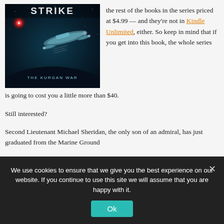[Figure (photo): Book cover for a science fiction novel showing a spaceship in space with 'THE KURGAN WAR' subtitle, dark blue/teal background with stars and a red star/light source]
the rest of the books in the series priced at $4.99 — and they're not in Kindle Unlimited, either. So keep in mind that if you get into this book, the whole series is going to cost you a little more than $40.
Still interested?
Second Lieutenant Michael Sheridan, the only son of an admiral, has just graduated from the Marine Ground
We use cookies to ensure that we give you the best experience on our website. If you continue to use this site we will assume that you are happy with it.